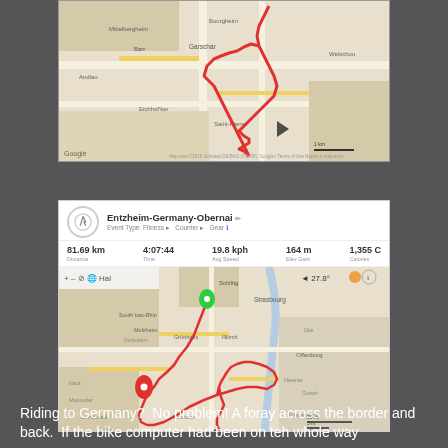[Figure (map): Google Maps screenshot showing a cycling route in the Alsace/Germany border region, with a red route line and a play/navigation arrow marker]
[Figure (screenshot): Strava activity card titled 'Entzheim-Germany-Obernai' showing stats: 81.69 km distance, 4:07:44 time, 19.8 kph avg speed, 164 m elev gain, 1,355 C calories, with a Google Maps view of the cycling route showing green start pin and red end pin]
Riding to Germany?  No problem! A foray across the border and back.  If the bike computer had been on teh whole way